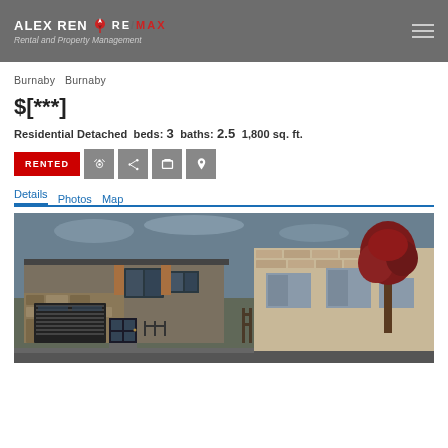ALEX REN RE/MAX Rental and Property Management
Burnaby   Burnaby
$[***]
Residential Detached  beds: 3  baths: 2.5  1,800 sq. ft.
RENTED
Details  Photos  Map
[Figure (photo): Exterior photo of a modern residential detached house in Burnaby with stone facade, dark garage door, and adjacent brick house with red tree]